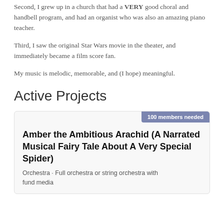Second, I grew up in a church that had a VERY good choral and handbell program, and had an organist who was also an amazing piano teacher.
Third, I saw the original Star Wars movie in the theater, and immediately became a film score fan.
My music is melodic, memorable, and (I hope) meaningful.
Active Projects
Amber the Ambitious Arachid (A Narrated Musical Fairy Tale About A Very Special Spider)
Orchestra · Full orchestra or string orchestra with fund media